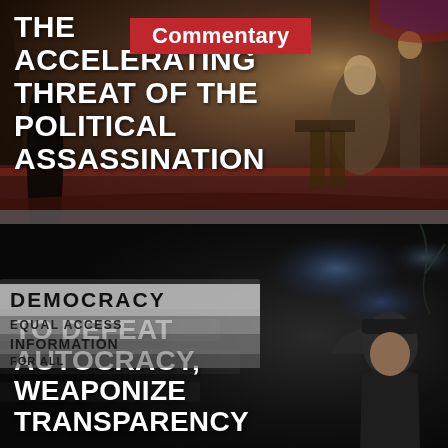[Figure (illustration): Historical painting/illustration of a political assassination scene, appears to depict a 19th century theater or formal setting with figures in period clothing]
THE ACCELERATING THREAT OF THE POLITICAL ASSASSINATION
[Figure (photo): Contemporary protest scene with a person holding Democracy sign reading 'DEMOCRACY, EQUAL ACCESS, INFORMATION FOR ALL', with a person in a black beanie visible on the right side]
Commentary
TO DEFEAT AUTOCRACY, WEAPONIZE TRANSPARENCY